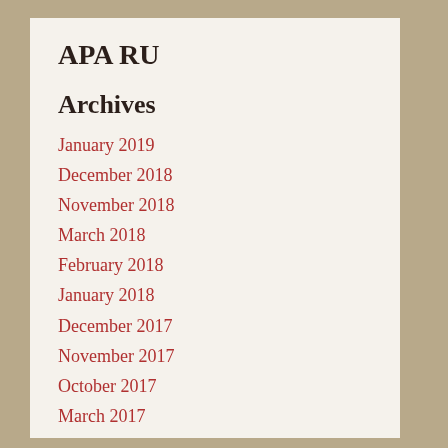APA RU
Archives
January 2019
December 2018
November 2018
March 2018
February 2018
January 2018
December 2017
November 2017
October 2017
March 2017
October 2016
April 2016
March 2016
February 2016
November 2015
October 2015